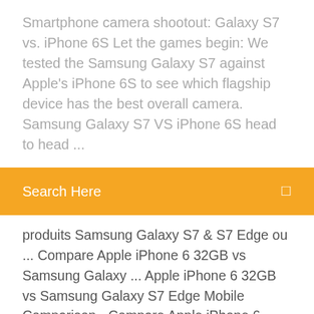Smartphone camera shootout: Galaxy S7 vs. iPhone 6S Let the games begin: We tested the Samsung Galaxy S7 against Apple's iPhone 6S to see which flagship device has the best overall camera. Samsung Galaxy S7 VS iPhone 6S head to head ...
Search Here
produits Samsung Galaxy S7 & S7 Edge ou ... Compare Apple iPhone 6 32GB vs Samsung Galaxy ... Apple iPhone 6 32GB vs Samsung Galaxy S7 Edge Mobile Comparison - Compare Apple iPhone 6 32GB vs Samsung Galaxy S7 Edge Price in India, Camera, Size and other specifications at Gadgets Now Samsung Galaxy S7 vs. Apple iPhone 6s: Sixes and ... The Samsung Galaxy S7 has a massive advantage in battery capacity - at 3,000mAh, it has 75% more milliamps in its tank than the iPhone 6s. Apple is known for its great optimizations, but there's